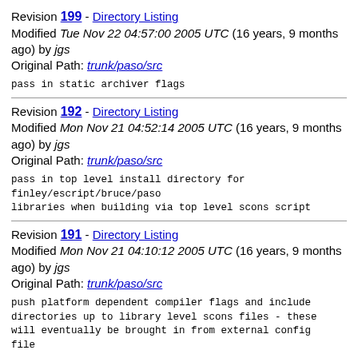Revision 199 - Directory Listing
Modified Tue Nov 22 04:57:00 2005 UTC (16 years, 9 months ago) by jgs
Original Path: trunk/paso/src
pass in static archiver flags
Revision 192 - Directory Listing
Modified Mon Nov 21 04:52:14 2005 UTC (16 years, 9 months ago) by jgs
Original Path: trunk/paso/src
pass in top level install directory for
finley/escript/bruce/paso
libraries when building via top level scons script
Revision 191 - Directory Listing
Modified Mon Nov 21 04:10:12 2005 UTC (16 years, 9 months ago) by jgs
Original Path: trunk/paso/src
push platform dependent compiler flags and include
directories up to library level scons files - these
will eventually be brought in from external config
file